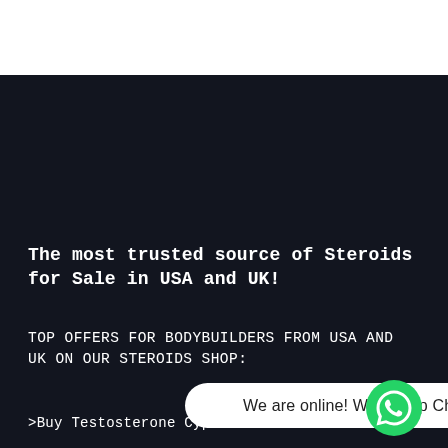The most trusted source of Steroids for Sale in USA and UK!
TOP OFFERS FOR BODYBUILDERS FROM USA AND UK ON OUR STEROIDS SHOP:
>Buy Testosterone Cypionate Online
[Figure (other): WhatsApp Chat button bar with text 'We are online! WhatsApp Chat' and a green WhatsApp icon circle on the right]